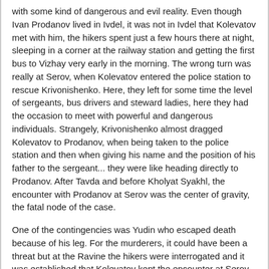with some kind of dangerous and evil reality. Even though Ivan Prodanov lived in Ivdel, it was not in Ivdel that Kolevatov met with him, the hikers spent just a few hours there at night, sleeping in a corner at the railway station and getting the first bus to Vizhay very early in the morning. The wrong turn was really at Serov, when Kolevatov entered the police station to rescue Krivonishenko. Here, they left for some time the level of sergeants, bus drivers and steward ladies, here they had the occasion to meet with powerful and dangerous individuals. Strangely, Krivonishenko almost dragged Kolevatov to Prodanov, when being taken to the police station and then when giving his name and the position of his father to the sergeant... they were like heading directly to Prodanov. After Tavda and before Kholyat Syakhl, the encounter with Prodanov at Serov was the center of gravity, the fatal node of the case.
One of the contingencies was Yudin who escaped death because of his leg. For the murderers, it could have been a threat but at the Ravine the hikers were interrogated and it was established that Kolevatov kept the encounter at Serov to himself, and furthermore Yudin made a very short testimony, not saying a word about Kolevatov, not a word about Serov (though he mentioned Sverdlovsk, Ivdel, Vizhay, District 41 and Northern 2), even rewriting the timeline of the events in District 41 and Northern 2 to make them appear the more normal as possible, forgetting about the delay, and keeping low profile.